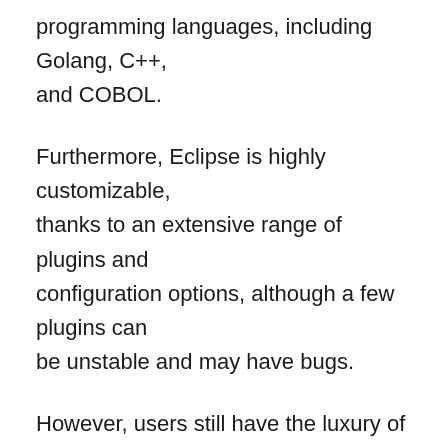programming languages, including Golang, C++, and COBOL.
Furthermore, Eclipse is highly customizable, thanks to an extensive range of plugins and configuration options, although a few plugins can be unstable and may have bugs.
However, users still have the luxury of choosing from various plugins developed by the helpful and highly active Eclipse community.
But what sells the IDE is its customized compiler,